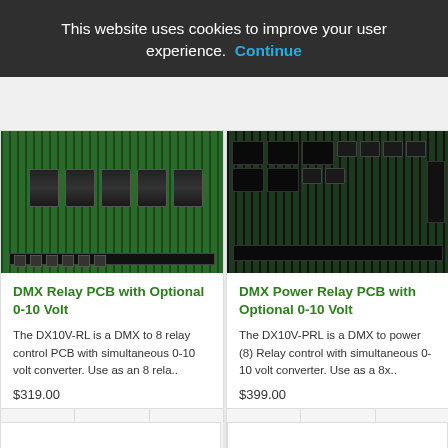This website uses cookies to improve your user experience.  Continue
[Figure (photo): Green PCB with 8 relay components — DMX Relay PCB with Optional 0-10 Volt]
DMX Relay PCB with Optional 0-10 Volt
The DX10V-RL is a DMX to 8 relay control PCB with simultaneous 0-10 volt converter. Use as an 8 rela..
$319.00
[Figure (photo): Dark PCB with relay and component blocks — DMX Power Relay PCB with Optional 0-10 Volt]
DMX Power Relay PCB with Optional 0-10 Volt
The DX10V-PRL is a DMX to power (8) Relay control with simultaneous 0-10 volt converter. Use as a 8x..
$399.00